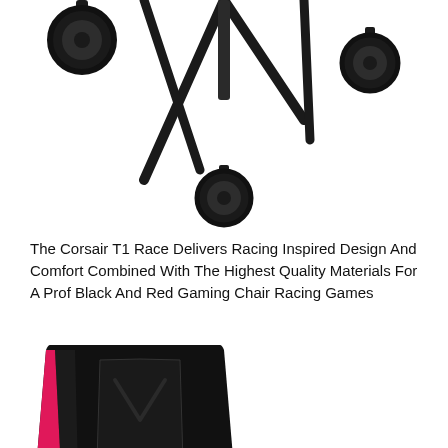[Figure (photo): Close-up photo of black chair caster wheels and metal base legs on white background]
The Corsair T1 Race Delivers Racing Inspired Design And Comfort Combined With The Highest Quality Materials For A Prof Black And Red Gaming Chair Racing Games
[Figure (photo): Close-up photo of a black and pink/red trimmed gaming chair backrest showing the racing-style design]